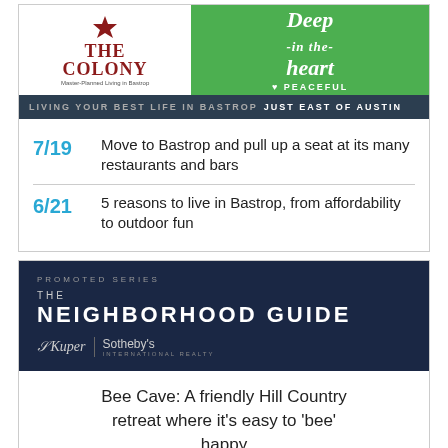[Figure (advertisement): The Colony advertisement showing logo with star, 'Deep in the heart' green panel with landscape photo, and dark banner reading 'LIVING YOUR BEST LIFE IN BASTROP  JUST EAST OF AUSTIN']
7/19  Move to Bastrop and pull up a seat at its many restaurants and bars
6/21  5 reasons to live in Bastrop, from affordability to outdoor fun
[Figure (advertisement): Kuper Sotheby's International Realty Neighborhood Guide promoted series advertisement with dark navy background]
Bee Cave: A friendly Hill Country retreat where it's easy to 'bee' happy